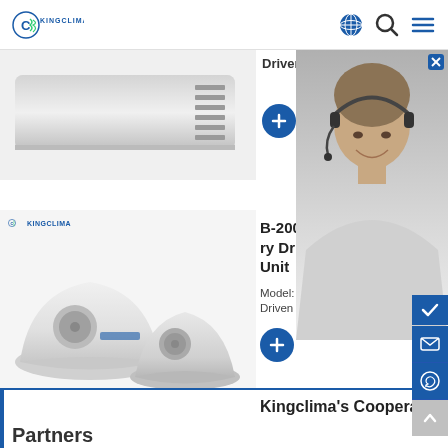[Figure (logo): KingClima logo with globe icon and navigation icons (search, menu) in header]
[Figure (photo): Partial view of a rooftop transport refrigeration unit (white device with vents) at top of page]
Driven Type:B
[Figure (photo): Customer service representative (woman with headset) photo overlay on right side]
[Figure (photo): B-200 Battery Driven Refrigeration Unit product photo showing two white rooftop units with KingClima branding]
B-200 Battery Driven Unit
Model: B-200
Driven Type:Battery driven u...
Off Line to Leave a Message
Kingclima's Cooperate
Partners